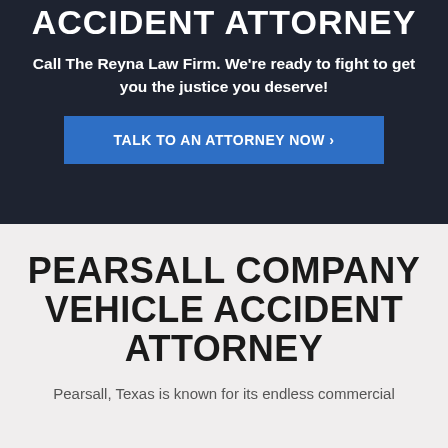ACCIDENT ATTORNEY
Call The Reyna Law Firm. We're ready to fight to get you the justice you deserve!
TALK TO AN ATTORNEY NOW ›
PEARSALL COMPANY VEHICLE ACCIDENT ATTORNEY
Pearsall, Texas is known for its endless commercial